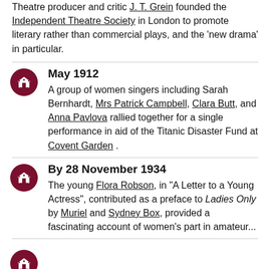Theatre producer and critic J. T. Grein founded the Independent Theatre Society in London to promote literary rather than commercial plays, and the 'new drama' in particular.
May 1912
A group of women singers including Sarah Bernhardt, Mrs Patrick Campbell, Clara Butt, and Anna Pavlova rallied together for a single performance in aid of the Titanic Disaster Fund at Covent Garden .
By 28 November 1934
The young Flora Robson, in "A Letter to a Young Actress", contributed as a preface to Ladies Only by Muriel and Sydney Box, provided a fascinating account of women's part in amateur...